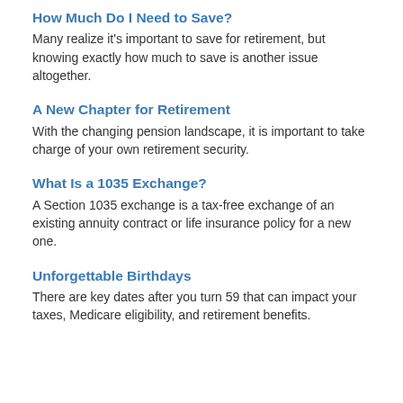How Much Do I Need to Save?
Many realize it's important to save for retirement, but knowing exactly how much to save is another issue altogether.
A New Chapter for Retirement
With the changing pension landscape, it is important to take charge of your own retirement security.
What Is a 1035 Exchange?
A Section 1035 exchange is a tax-free exchange of an existing annuity contract or life insurance policy for a new one.
Unforgettable Birthdays
There are key dates after you turn 59 that can impact your taxes, Medicare eligibility, and retirement benefits.